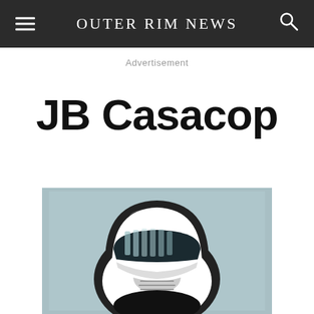Outer Rim News
Advertisement
JB Casacop
[Figure (illustration): Stylized illustration of a Star Wars stormtrooper helmet in a modern graphic art style, set against a pale blue-grey background. The helmet is rendered with smooth shapes and muted colors including black, white, and teal tones.]